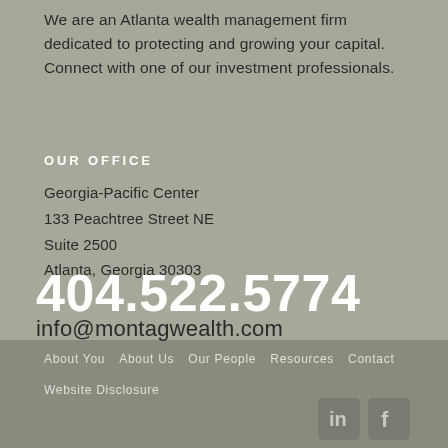We are an Atlanta wealth management firm dedicated to protecting and growing your capital. Connect with one of our investment professionals.
OUR OFFICE
Georgia-Pacific Center
133 Peachtree Street NE
Suite 2500
Atlanta, Georgia 30303
404.522.5774
info@montagwealth.com
About You  About Us  Our People  Resources  Contact
Website Disclosure